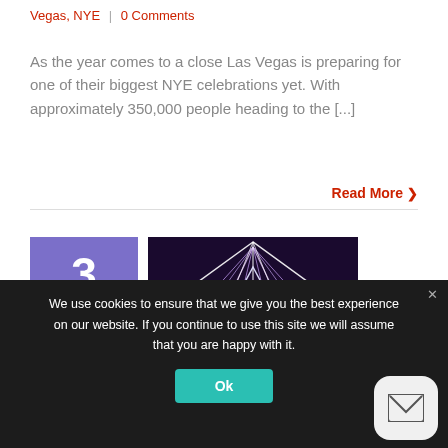Vegas, NYE  |  0 Comments
As the year comes to a close Las Vegas is preparing for one of their biggest NYE celebrations yet. With approximately 350,000 people heading to the [...]
Read More >
3
10, 2019
[Figure (photo): Concert scene with neon geometric lighting and DJ on stage]
We use cookies to ensure that we give you the best experience on our website. If you continue to use this site we will assume that you are happy with it.
Ok